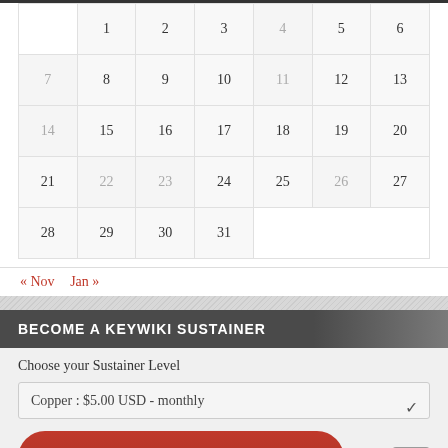|  | 1 | 2 | 3 | 4 | 5 | 6 |
| 7 | 8 | 9 | 10 | 11 | 12 | 13 |
| 14 | 15 | 16 | 17 | 18 | 19 | 20 |
| 21 | 22 | 23 | 24 | 25 | 26 | 27 |
| 28 | 29 | 30 | 31 |  |  |  |
« Nov   Jan »
BECOME A KEYWIKI SUSTAINER
Choose your Sustainer Level
Copper : $5.00 USD - monthly
[Figure (logo): become a KEYWIKI sustainer red button]
Scroll up arrow button